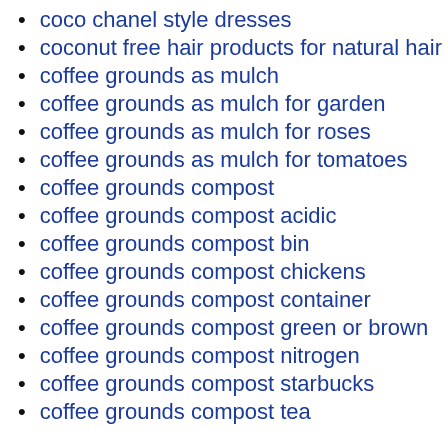coco chanel style dresses
coconut free hair products for natural hair
coffee grounds as mulch
coffee grounds as mulch for garden
coffee grounds as mulch for roses
coffee grounds as mulch for tomatoes
coffee grounds compost
coffee grounds compost acidic
coffee grounds compost bin
coffee grounds compost chickens
coffee grounds compost container
coffee grounds compost green or brown
coffee grounds compost nitrogen
coffee grounds compost starbucks
coffee grounds compost tea